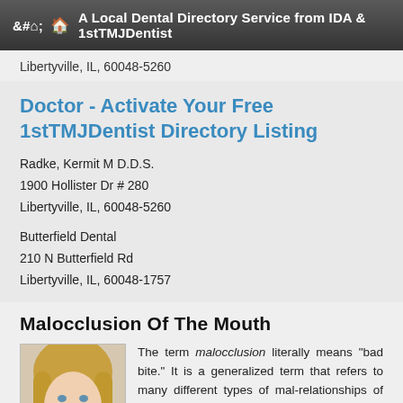A Local Dental Directory Service from IDA & 1stTMJDentist
Libertyville, IL, 60048-5260
Doctor - Activate Your Free 1stTMJDentist Directory Listing
Radke, Kermit M D.D.S.
1900 Hollister Dr # 280
Libertyville, IL, 60048-5260
Butterfield Dental
210 N Butterfield Rd
Libertyville, IL, 60048-1757
Malocclusion Of The Mouth
[Figure (photo): Photo of a smiling blonde woman]
The term malocclusion literally means "bad bite." It is a generalized term that refers to many different types of mal-relationships of the lower teeth to the upper teeth. In popular usage, any arrangement of the teeth that is at variance with a